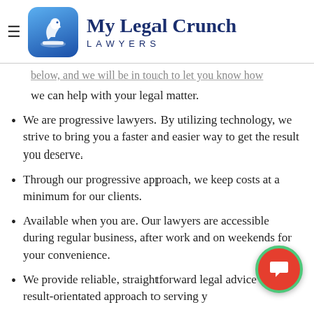[Figure (logo): My Legal Crunch Lawyers logo with chess knight icon on blue gradient background, hamburger menu icon on left]
below, and we will be in touch to let you know how we can help with your legal matter.
We are progressive lawyers. By utilizing technology, we strive to bring you a faster and easier way to get the result you deserve.
Through our progressive approach, we keep costs at a minimum for our clients.
Available when you are. Our lawyers are accessible during regular business, after work and on weekends for your convenience.
We provide reliable, straightforward legal advice with a result-orientated approach to serving y
You Can Get My Legal Crunch Legal